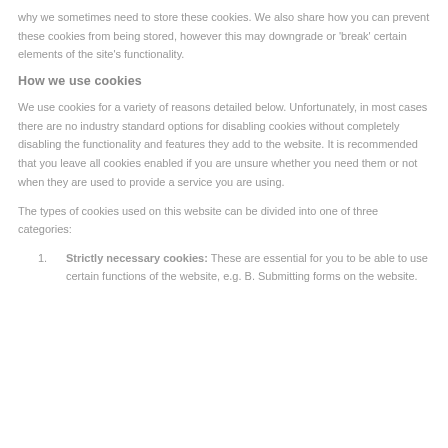why we sometimes need to store these cookies. We also share how you can prevent these cookies from being stored, however this may downgrade or 'break' certain elements of the site's functionality.
How we use cookies
We use cookies for a variety of reasons detailed below. Unfortunately, in most cases there are no industry standard options for disabling cookies without completely disabling the functionality and features they add to the website. It is recommended that you leave all cookies enabled if you are unsure whether you need them or not when they are used to provide a service you are using.
The types of cookies used on this website can be divided into one of three categories:
Strictly necessary cookies: These are essential for you to be able to use certain functions of the website, e.g. B. Submitting forms on the website.